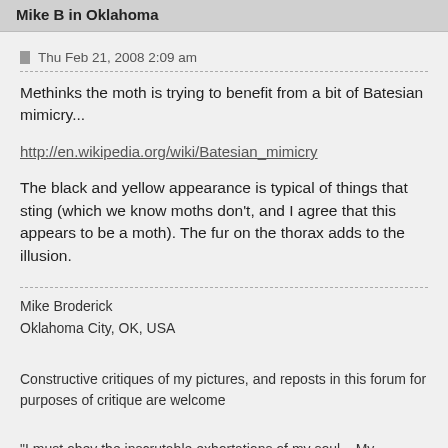Mike B in Oklahoma
Thu Feb 21, 2008 2:09 am
Methinks the moth is trying to benefit from a bit of Batesian mimicry...
http://en.wikipedia.org/wiki/Batesian_mimicry
The black and yellow appearance is typical of things that sting (which we know moths don't, and I agree that this appears to be a moth). The fur on the thorax adds to the illusion.
Mike Broderick
Oklahoma City, OK, USA
Constructive critiques of my pictures, and reposts in this forum for purposes of critique are welcome
"I must obey the inscrutable exhortations of my soul....My mandate includes weird bugs."